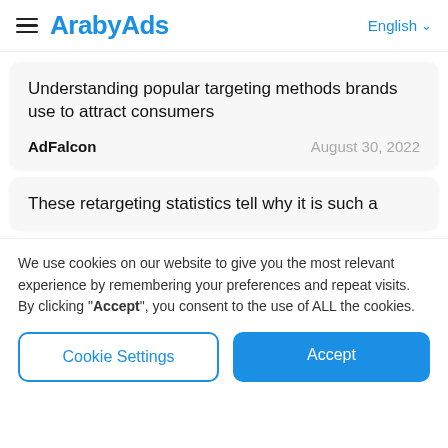ArabyAds — English
Understanding popular targeting methods brands use to attract consumers
AdFalcon   August 30, 2022
These retargeting statistics tell why it is such a
We use cookies on our website to give you the most relevant experience by remembering your preferences and repeat visits. By clicking "Accept", you consent to the use of ALL the cookies.
Cookie Settings   Accept